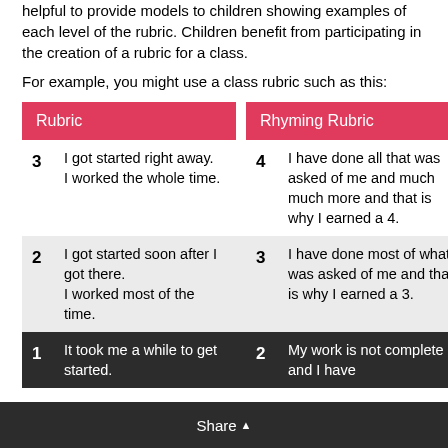helpful to provide models to children showing examples of each level of the rubric. Children benefit from participating in the creation of a rubric for a class.
For example, you might use a class rubric such as this:
| Rubric |  | Rhyming Rubric |
| --- | --- | --- |
| 3 | I got started right away.
I worked the whole time. | 4 | I have done all that was asked of me and much much more and that is why I earned a 4. |
| 2 | I got started soon after I got there.
I worked most of the time. | 3 | I have done most of what was asked of me and that is why I earned a 3. |
| 1 | It took me a while to get started. | 2 | My work is not complete and I have |
Share ▲